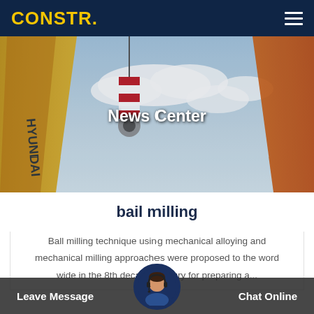CONSTR.
[Figure (photo): Hero banner showing construction cranes (Hyundai) against a blue sky with 'News Center' text overlay]
bail milling
Ball milling technique using mechanical alloying and mechanical milling approaches were proposed to the word wide in the 8th decade of last century for preparing a...
Leave Message   Chat Online